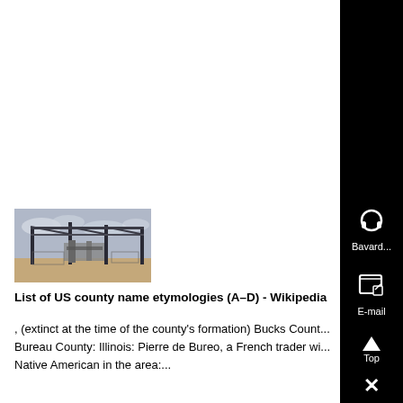[Figure (photo): Outdoor industrial or utility structure with metal frame and equipment, set against a cloudy sky and dry landscape.]
List of US county name etymologies (A–D) - Wikipedia
, (extinct at the time of the county's formation) Bucks Count... Bureau County: Illinois: Pierre de Bureo, a French trader wi... Native American in the area:...